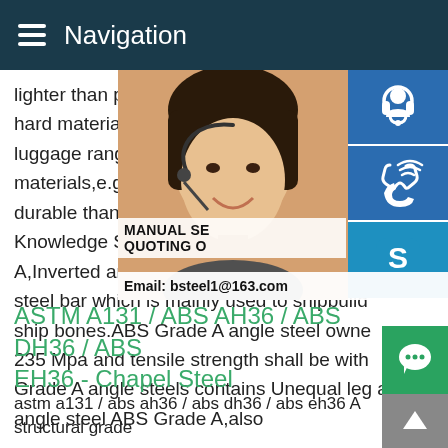Navigation
lighter than polycarbonate but not as durable. hard material,meaning it is popular in the luggage ranges.ABS is frequently added to materials,e.g.polycarbonate.The combined durable than Angle steel ABS Grade A,Inverted Knowledge Sep 13,2017 abs steel hs#018 A,Inverted angle steel.Angle steel ABS Grade steel bar which is mainly used to shipbuilding ship bones.ABS Grade A angle steel owned 235 Mpa and tensile strength shall be within Grade A angle steels contains Unequal leg and unequal thickness angle steel ABS Grade A,also
[Figure (photo): Customer service representative woman with headset, with contact icons (headset, phone, Skype) and manual/quoting/email overlay]
ASTM A131 / ABS AH36 / ABS DH36 / ABS EH36 - Chapel Steel
astm a131 / abs ah36 / abs dh36 / abs eh36 A structural grade